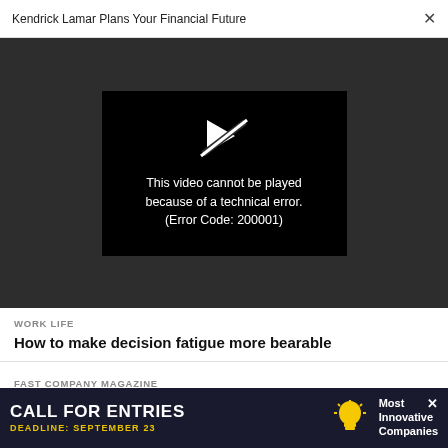Kendrick Lamar Plans Your Financial Future
[Figure (screenshot): Video player showing error message: This video cannot be played because of a technical error. (Error Code: 200001) with a broken play button icon on dark background]
WORK LIFE
How to make decision fatigue more bearable
FAST COMPANY MAGAZINE
This activist is organizing disaster recovery workers
[Figure (infographic): Advertisement banner: CALL FOR ENTRIES DEADLINE: SEPTEMBER 23 Most Innovative Companies with lightbulb icon]